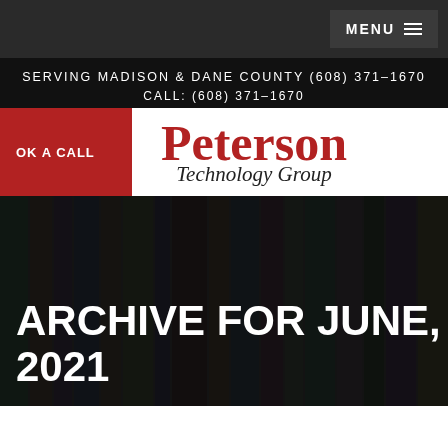MENU
SERVING MADISON & DANE COUNTY (608) 371-1670
CALL: (608) 371-1670
[Figure (logo): Peterson Technology Group logo with red serif text]
ARCHIVE FOR JUNE, 2021